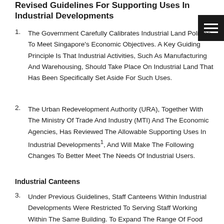Revised Guidelines For Supporting Uses In Industrial Developments
The Government Carefully Calibrates Industrial Land Policies To Meet Singapore's Economic Objectives. A Key Guiding Principle Is That Industrial Activities, Such As Manufacturing And Warehousing, Should Take Place On Industrial Land That Has Been Specifically Set Aside For Such Uses.
The Urban Redevelopment Authority (URA), Together With The Ministry Of Trade And Industry (MTI) And The Economic Agencies, Has Reviewed The Allowable Supporting Uses In Industrial Developments¹, And Will Make The Following Changes To Better Meet The Needs Of Industrial Users.
Industrial Canteens
Under Previous Guidelines, Staff Canteens Within Industrial Developments Were Restricted To Serving Staff Working Within The Same Building. To Expand The Range Of Food Options Within